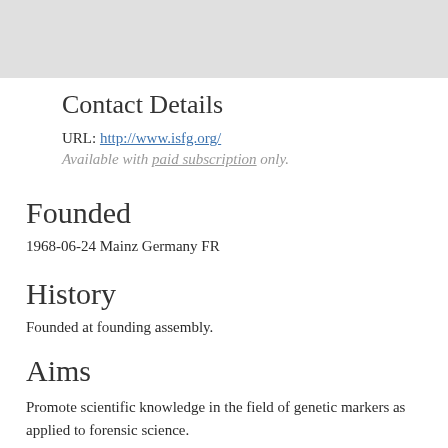[Figure (map): Gray map placeholder image at the top of the page]
Contact Details
URL: http://www.isfg.org/
Available with paid subscription only.
Founded
1968-06-24 Mainz Germany FR
History
Founded at founding assembly.
Aims
Promote scientific knowledge in the field of genetic markers as applied to forensic science.
Events